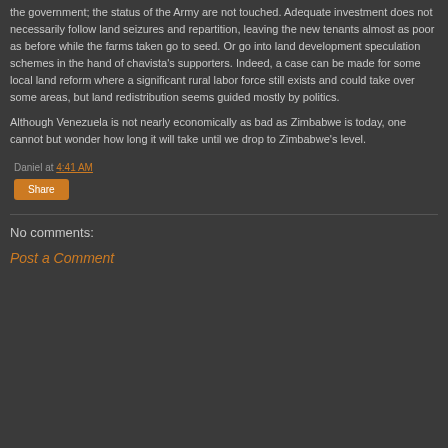the government; the status of the Army are not touched. Adequate investment does not necessarily follow land seizures and repartition, leaving the new tenants almost as poor as before while the farms taken go to seed. Or go into land development speculation schemes in the hand of chavista's supporters. Indeed, a case can be made for some local land reform where a significant rural labor force still exists and could take over some areas, but land redistribution seems guided mostly by politics.
Although Venezuela is not nearly economically as bad as Zimbabwe is today, one cannot but wonder how long it will take until we drop to Zimbabwe's level.
Daniel at 4:41 AM
Share
No comments:
Post a Comment